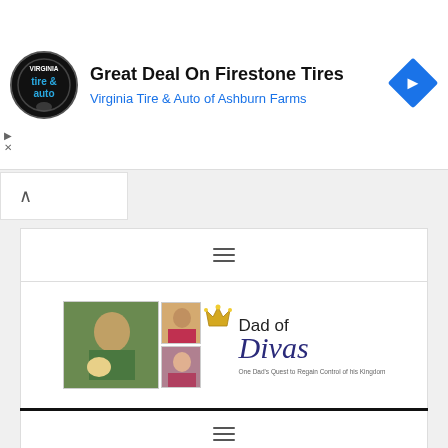[Figure (infographic): Ad banner: Virginia Tire logo (circular black logo with 'tire & auto' text), headline 'Great Deal On Firestone Tires', subheadline 'Virginia Tire & Auto of Ashburn Farms', blue diamond arrow icon on right]
[Figure (infographic): Chevron/collapse button bar with upward caret symbol]
[Figure (infographic): Navigation hamburger menu bar (three horizontal lines)]
[Figure (photo): Blog header/logo for 'Dad of Divas' with photos of a dad with baby and two small photos of girls, crown icon, 'Dad of Divas' title in black and italic blue script, tagline 'One Dad's Quest to Regain Control of his Kingdom']
[Figure (infographic): Second navigation hamburger menu bar (three horizontal lines)]
Four Things You Need Before Bringing a Kitten